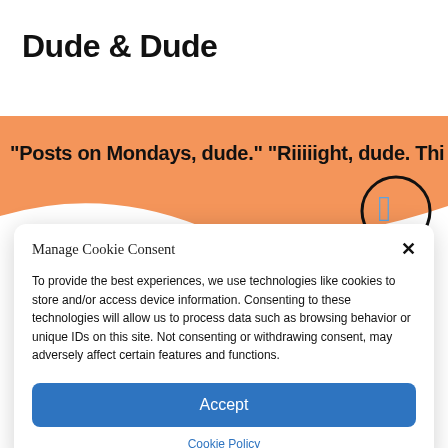Dude & Dude
[Figure (screenshot): Banner image with orange background showing text: "Posts on Mondays, dude." "Riiiiight, dude. Thi... and an Apple logo icon on the right side.]
Manage Cookie Consent
To provide the best experiences, we use technologies like cookies to store and/or access device information. Consenting to these technologies will allow us to process data such as browsing behavior or unique IDs on this site. Not consenting or withdrawing consent, may adversely affect certain features and functions.
Accept
Cookie Policy